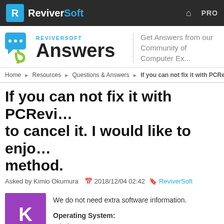ReviverSoft
[Figure (logo): ReviverSoft Answers logo with P icon, brand name and tagline]
Get Answers from our Community of Computer Experts
Home > Resources > Questions & Answers > If you can not fix it with PCReviver...
If you can not fix it with PCReviver to cancel it. I would like to enjoy method.
Asked by Kimio Okumura   2018/12/04 02:42  ReviverSoft
We do not need extra software information.

Operating System:
Windows 10